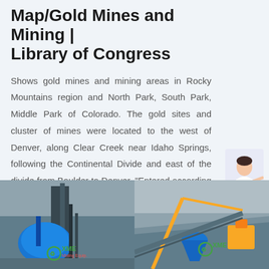Map/Gold Mines and Mining | Library of Congress
Shows gold mines and mining areas in Rocky Mountains region and North Park, South Park, Middle Park of Colorado. The gold sites and cluster of mines were located to the west of Denver, along Clear Creek near Idaho Springs, following the Continental Divide and east of the divide from Boulder to Denver. "Entered according to Act of Congress in ...
Read More
[Figure (photo): Industrial mining equipment - blue machinery with vertical tower structure, XME Mining Equipment logo overlay]
[Figure (photo): Open-pit mining site with yellow and blue heavy machinery, XME branding overlay]